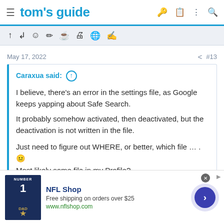tom's guide
[Figure (screenshot): Toolbar strip with formatting/editor icons]
May 17, 2022   < #13
Caraxua said: ↑

I believe, there's an error in the settings file, as Google keeps yapping about Safe Search.
It probably somehow activated, then deactivated, but the deactivation is not written in the file.

Just need to figure out WHERE, or better, which file ... . 😐
Most likely some file in my Profile?
Now that I think of it, I had the issue a looooooong time ago, maybe
[Figure (screenshot): NFL Shop advertisement banner with jersey image, Free shipping on orders over $25, www.nflshop.com, and a navigation arrow button]